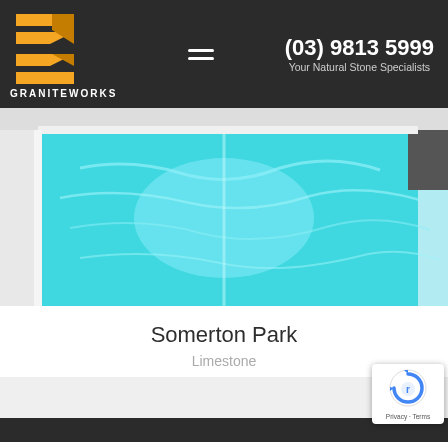[Figure (logo): GraniteWorks logo with orange chevron/arrow mark and text GRANITEWORKS in white]
(03) 9813 5999
Your Natural Stone Specialists
[Figure (photo): Overhead view of a turquoise indoor swimming pool with limestone surrounds]
Somerton Park
Limestone
Privacy · Terms